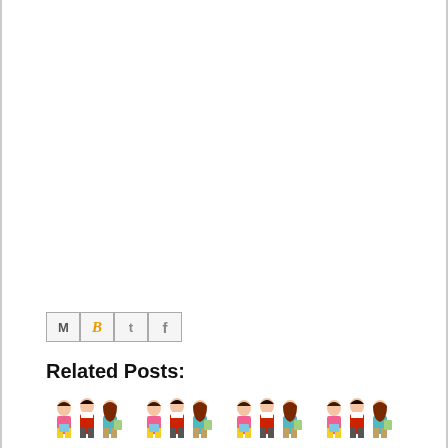[Figure (other): Social media share buttons: Gmail (M), Blogger (B), Twitter (t), Facebook (f)]
Related Posts:
[Figure (illustration): Four repeated thumbnail illustrations each showing a group of young students (boy and two girls) with books and bags.]